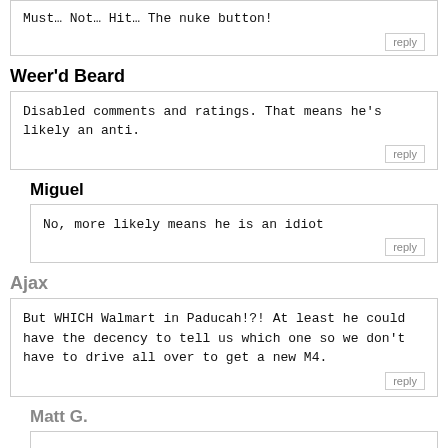Must… Not… Hit… The nuke button!
reply
Weer'd Beard
Disabled comments and ratings. That means he's likely an anti.
reply
Miguel
No, more likely means he is an idiot
reply
Ajax
But WHICH Walmart in Paducah!?! At least he could have the decency to tell us which one so we don't have to drive all over to get a new M4.
reply
Matt G.